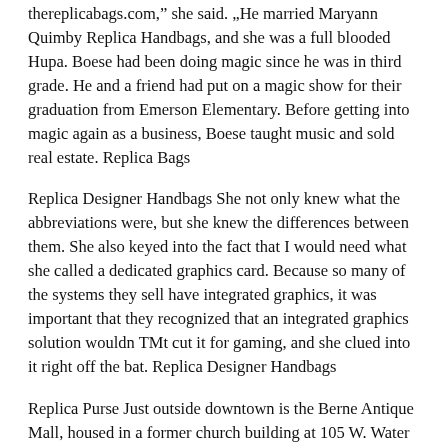thereplicabags.com,” she said. „He married Maryann Quimby Replica Handbags, and she was a full blooded Hupa. Boese had been doing magic since he was in third grade. He and a friend had put on a magic show for their graduation from Emerson Elementary. Before getting into magic again as a business, Boese taught music and sold real estate. Replica Bags
Replica Designer Handbags She not only knew what the abbreviations were, but she knew the differences between them. She also keyed into the fact that I would need what she called a dedicated graphics card. Because so many of the systems they sell have integrated graphics, it was important that they recognized that an integrated graphics solution wouldn TMt cut it for gaming, and she clued into it right off the bat. Replica Designer Handbags
Replica Purse Just outside downtown is the Berne Antique Mall, housed in a former church building at 105 W. Water St. Don be put off by the exterior, which is in need of some paint